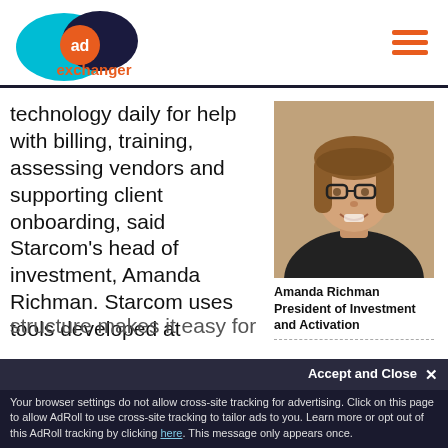AdExchanger logo and navigation
technology daily for help with billing, training, assessing vendors and supporting client onboarding, said Starcom’s head of investment, Amanda Richman. Starcom uses tools developed at Precision and the data, technology and innovation practice to manage vendor verification, frequency capping and campaign optimization.
[Figure (photo): Portrait photo of Amanda Richman, a woman with shoulder-length brown hair and glasses, wearing a black top, smiling.]
Amanda Richman
President of Investment and Activation
structure makes it easy for
Accept and Close ×
Your browser settings do not allow cross-site tracking for advertising. Click on this page to allow AdRoll to use cross-site tracking to tailor ads to you. Learn more or opt out of this AdRoll tracking by clicking here. This message only appears once.